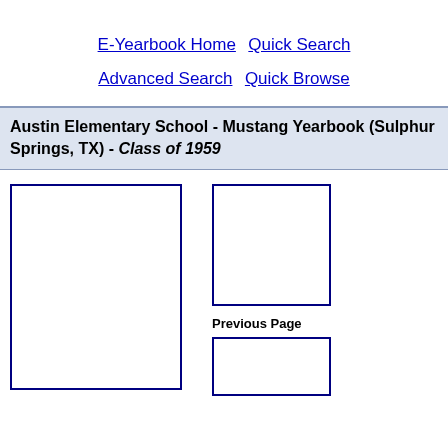E-Yearbook Home   Quick Search   Advanced Search   Quick Browse
Austin Elementary School - Mustang Yearbook (Sulphur Springs, TX) - Class of 1959
[Figure (other): Large blank yearbook page placeholder (left column, main image)]
[Figure (other): Small blank yearbook page placeholder (right column, top - Previous Page)]
Previous Page
[Figure (other): Small blank yearbook page placeholder (right column, bottom)]